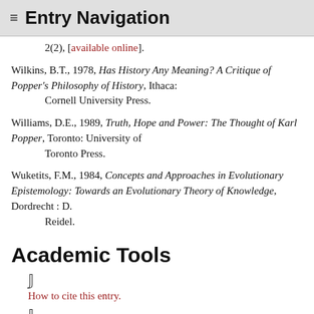≡ Entry Navigation
2(2), [available online].
Wilkins, B.T., 1978, Has History Any Meaning? A Critique of Popper's Philosophy of History, Ithaca: Cornell University Press.
Williams, D.E., 1989, Truth, Hope and Power: The Thought of Karl Popper, Toronto: University of Toronto Press.
Wuketits, F.M., 1984, Concepts and Approaches in Evolutionary Epistemology: Towards an Evolutionary Theory of Knowledge, Dordrecht : D. Reidel.
Academic Tools
How to cite this entry.
Preview the PDF version of this entry at the Friends of the SEP Society.